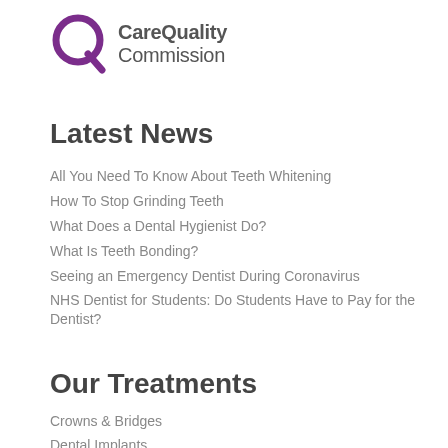[Figure (logo): Care Quality Commission logo with purple circle Q icon and grey text]
Latest News
All You Need To Know About Teeth Whitening
How To Stop Grinding Teeth
What Does a Dental Hygienist Do?
What Is Teeth Bonding?
Seeing an Emergency Dentist During Coronavirus
NHS Dentist for Students: Do Students Have to Pay for the Dentist?
Our Treatments
Crowns & Bridges
Dental Implants